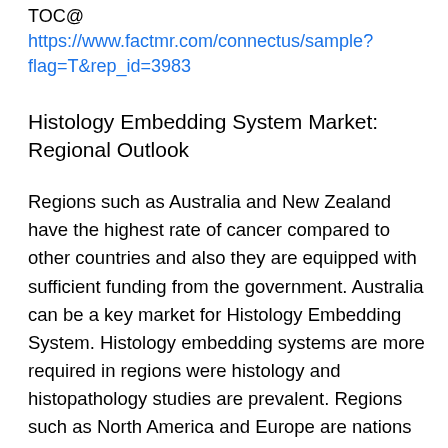TOC@ https://www.factmr.com/connectus/sample?flag=T&rep_id=3983
Histology Embedding System Market: Regional Outlook
Regions such as Australia and New Zealand have the highest rate of cancer compared to other countries and also they are equipped with sufficient funding from the government. Australia can be a key market for Histology Embedding System. Histology embedding systems are more required in regions were histology and histopathology studies are prevalent. Regions such as North America and Europe are nations contributing to large sum to healthcare expenditures and can be the key players